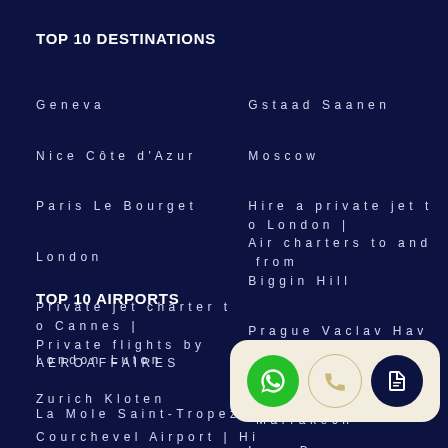TOP 10 DESTINATIONS
Geneva
Nice Côte d'Azur
Paris Le Bourget
London
Private jet charter to Cannes | Private flights by AEROAFFAIRES
La Mole Saint-Tropez
Gstaad Saanen
Moscow
Hire a private jet to London | Air charters to and from Biggin Hill
Prague Vaclav Havel
Palma de Mallorca
Lyon Bron
TOP 10 AIRPORTS
London Luton
Zurich Kloten
Courchevel Airport | Hire a private jet to Courchevel
Marrakech
[Figure (infographic): Floating action bar with three circular buttons: green WhatsApp button, outline phone button, dark document button]